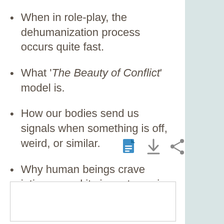When in role-play, the dehumanization process occurs quite fast.
What 'The Beauty of Conflict' model is.
How our bodies send us signals when something is off, weird, or similar.
Why human beings crave intimacy and its importance in business.
[Figure (screenshot): Icon bar with document, download, and share icons]
[Figure (other): Empty white box with border at the bottom of the page]